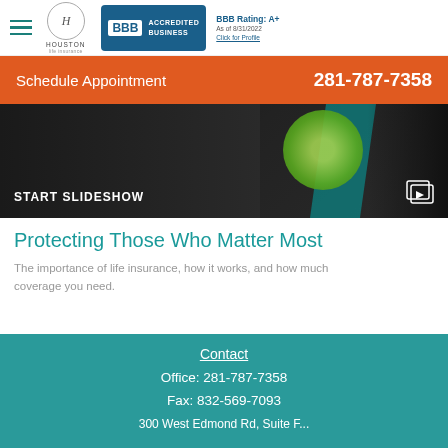Houston Life Insurance — BBB Accredited Business, BBB Rating: A+, As of 8/31/2022, Click for Profile
Schedule Appointment
281-787-7358
[Figure (photo): Dark hero image with teal/green accents and insurance-related imagery. Text overlay reads START SLIDESHOW with a slideshow icon.]
Protecting Those Who Matter Most
The importance of life insurance, how it works, and how much coverage you need.
Contact
Office: 281-787-7358
Fax: 832-569-7093
300 West Edmond Rd, Suite F...